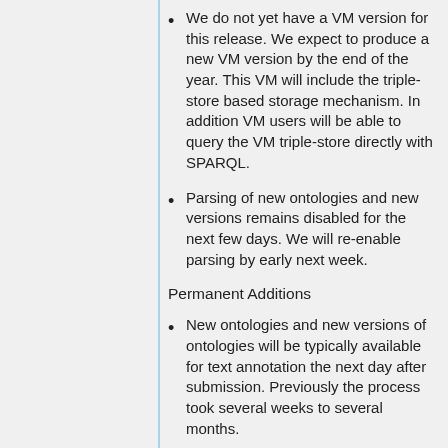We do not yet have a VM version for this release. We expect to produce a new VM version by the end of the year. This VM will include the triple-store based storage mechanism. In addition VM users will be able to query the VM triple-store directly with SPARQL.
Parsing of new ontologies and new versions remains disabled for the next few days. We will re-enable parsing by early next week.
Permanent Additions
New ontologies and new versions of ontologies will be typically available for text annotation the next day after submission. Previously the process took several weeks to several months.